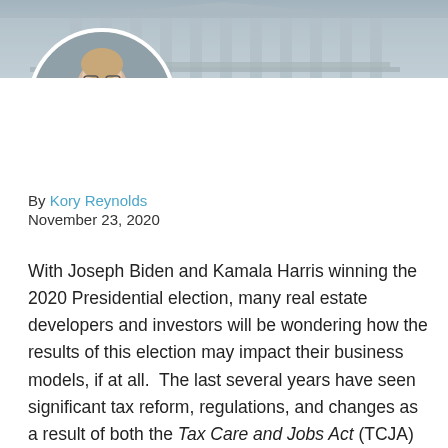[Figure (photo): Banner photo of a government/capitol building with columns, and a circular headshot portrait of a young man with glasses wearing a dark suit jacket]
By Kory Reynolds
November 23, 2020
With Joseph Biden and Kamala Harris winning the 2020 Presidential election, many real estate developers and investors will be wondering how the results of this election may impact their business models, if at all.  The last several years have seen significant tax reform, regulations, and changes as a result of both the Tax Care and Jobs Act (TCJA) of